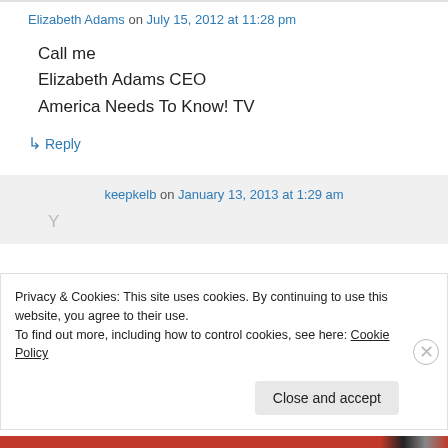Elizabeth Adams on July 15, 2012 at 11:28 pm
Call me
Elizabeth Adams CEO
America Needs To Know! TV
↳ Reply
keepkelb on January 13, 2013 at 1:29 am
Privacy & Cookies: This site uses cookies. By continuing to use this website, you agree to their use.
To find out more, including how to control cookies, see here: Cookie Policy
Close and accept